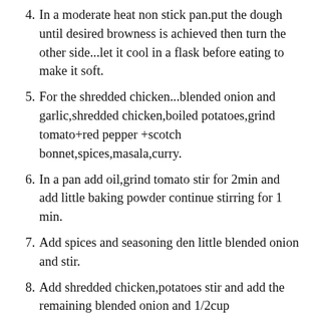4. In a moderate heat non stick pan.put the dough until desired browness is achieved then turn the other side...let it cool in a flask before eating to make it soft.
5. For the shredded chicken...blended onion and garlic,shredded chicken,boiled potatoes,grind tomato+red pepper +scotch bonnet,spices,masala,curry.
6. In a pan add oil,grind tomato stir for 2min and add little baking powder continue stirring for 1 min.
7. Add spices and seasoning den little blended onion and stir.
8. Add shredded chicken,potatoes stir and add the remaining blended onion and 1/2cup